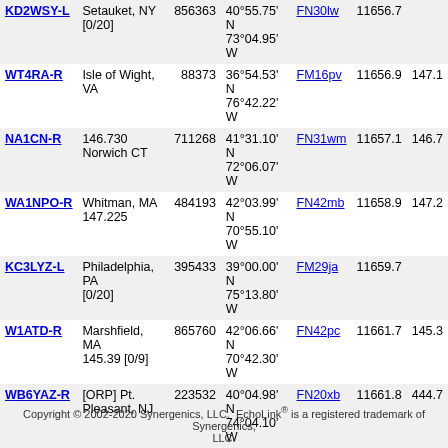| Callsign | Location | ID | Coordinates | Grid | Freq | Other |
| --- | --- | --- | --- | --- | --- | --- |
| KD2WSY-L | Setauket, NY [0/20] | 856363 | 40°55.75' N 73°04.95' W | FN30lw | 11656.7 |  |
| WT4RA-R | Isle of Wight, VA | 88373 | 36°54.53' N 76°42.22' W | FM16pv | 11656.9 | 147.1 |
| NA1CN-R | 146.730 Norwich CT | 711268 | 41°31.10' N 72°06.07' W | FN31wm | 11657.1 | 146.7 |
| WA1NPO-R | Whitman, MA 147.225 | 484193 | 42°03.99' N 70°55.10' W | FN42mb | 11658.9 | 147.2 |
| KC3LYZ-L | Philadelphia, PA [0/20] | 395433 | 39°00.00' N 75°13.80' W | FM29ja | 11659.7 |  |
| W1ATD-R | Marshfield, MA 145.39 [0/9] | 865760 | 42°06.66' N 70°42.30' W | FN42pc | 11661.7 | 145.3 |
| WB6YAZ-R | [ORP] Pt. Pleasant, NJ | 223532 | 40°04.98' N 74°04.10' W | FN20xb | 11661.8 | 444.7 |
About This Page
This page is intended to help RF users find EchoLink simplex or repeater link
The table above shows information collected during the past several minutes. The only stations shown are those which have entered location information can be viewed here.
Simplex links (-L) show the location, frequency, and antenna information of the frequency, and antenna information of the repeater it serves. The values in th
Copyright © 2002-2020 Synergenics, LLC.  EchoLink® is a registered trademark of Synergenics, LLC.